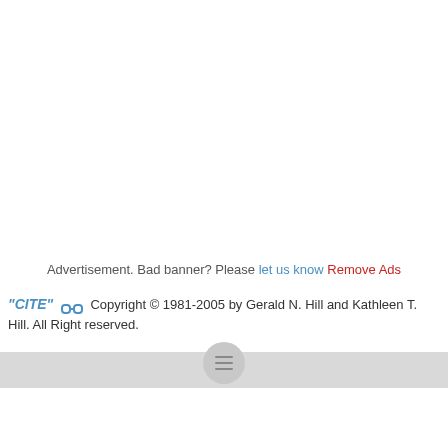Advertisement. Bad banner? Please let us know Remove Ads
"CITE" [link icon] Copyright © 1981-2005 by Gerald N. Hill and Kathleen T. Hill. All Right reserved.
[menu button]